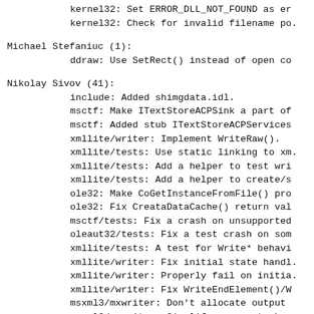kernel32: Set ERROR_DLL_NOT_FOUND as er
kernel32: Check for invalid filename po.
Michael Stefaniuc (1):
ddraw: Use SetRect() instead of open co
Nikolay Sivov (41):
include: Added shimgdata.idl.
msctf: Make ITextStoreACPSink a part of
msctf: Added stub ITextStoreACPServices
xmllite/writer: Implement WriteRaw().
xmllite/tests: Use static linking to xm.
xmllite/tests: Add a helper to test wri
xmllite/tests: Add a helper to create/s
ole32: Make CoGetInstanceFromFile() pro
ole32: Fix CreataDataCache() return val
msctf/tests: Fix a crash on unsupported
oleaut32/tests: Fix a test crash on som
xmllite/tests: A test for Write* behavi
xmllite/writer: Fix initial state handl.
xmllite/writer: Properly fail on initia.
xmllite/writer: Fix WriteEndElement()/W
msxml3/mxwriter: Don't allocate output
msxml3/mxwriter: Simplify argument chec
msxml3/tests: Remove useless VariantCle